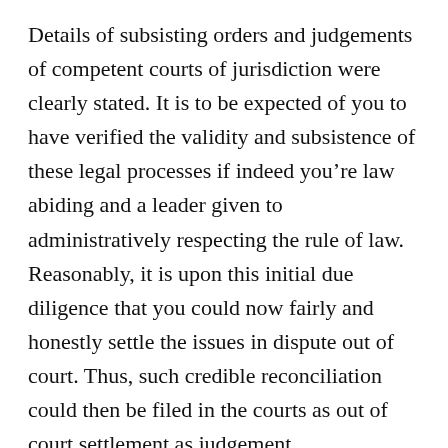Details of subsisting orders and judgements of competent courts of jurisdiction were clearly stated. It is to be expected of you to have verified the validity and subsistence of these legal processes if indeed you’re law abiding and a leader given to administratively respecting the rule of law. Reasonably, it is upon this initial due diligence that you could now fairly and honestly settle the issues in dispute out of court. Thus, such credible reconciliation could then be filed in the courts as out of court settlement as judgement. Unfortunately,
Reasonably, it is upon this initial due diligence that